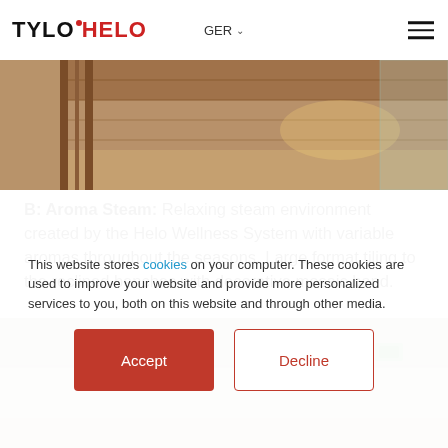TYLOHELO | GER
[Figure (photo): Interior of a wooden sauna room with warm lighting, showing wooden benches and paneling]
B: Aroma Steam: Relaxing steam environment created by the Helo Wellness System with variable aromas throughout the seasons. Large format tiling to the reclined benches with decorative mosaic band.
[Figure (photo): Interior of an Aroma Steam room with neutral tiling and ambient lighting]
This website stores cookies on your computer. These cookies are used to improve your website and provide more personalized services to you, both on this website and through other media.